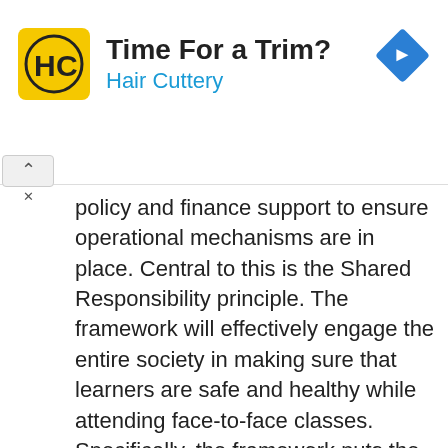[Figure (other): Advertisement banner for Hair Cuttery salon. Yellow square logo with 'HC' monogram, text 'Time For a Trim?' in bold black, 'Hair Cuttery' in blue, and a blue diamond-shaped navigation arrow icon on the right.]
policy and finance support to ensure operational mechanisms are in place. Central to this is the Shared Responsibility principle. The framework will effectively engage the entire society in making sure that learners are safe and healthy while attending face-to-face classes. Specifically, the framework puts the learner's health and safety at the heart of the implementation, allowing them to learn better.
The framework is centered on the following common elements: (a) Health and safety of learners, (b) Learning opportunities, (c)